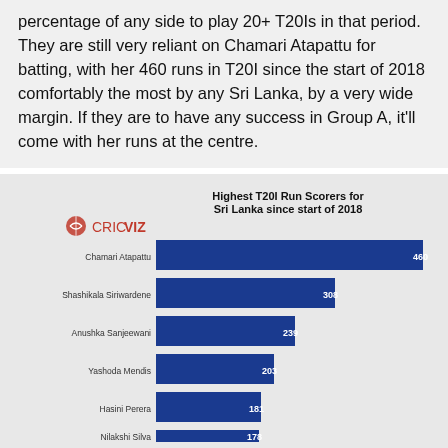percentage of any side to play 20+ T20Is in that period. They are still very reliant on Chamari Atapattu for batting, with her 460 runs in T20I since the start of 2018 comfortably the most by any Sri Lanka, by a very wide margin. If they are to have any success in Group A, it'll come with her runs at the centre.
[Figure (bar-chart): Highest T20I Run Scorers for Sri Lanka since start of 2018]